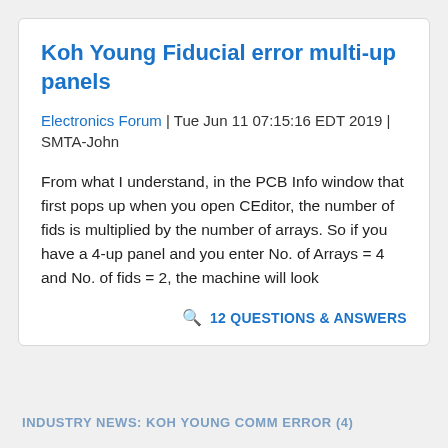Koh Young Fiducial error multi-up panels
Electronics Forum | Tue Jun 11 07:15:16 EDT 2019 | SMTA-John
From what I understand, in the PCB Info window that first pops up when you open CEditor, the number of fids is multiplied by the number of arrays. So if you have a 4-up panel and you enter No. of Arrays = 4 and No. of fids = 2, the machine will look
🔍 12 QUESTIONS & ANSWERS
INDUSTRY NEWS: KOH YOUNG COMM ERROR (4)